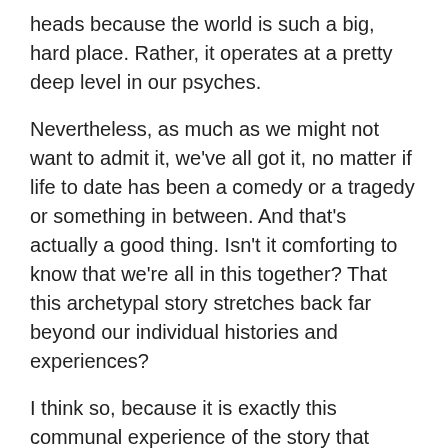heads because the world is such a big, hard place. Rather, it operates at a pretty deep level in our psyches.
Nevertheless, as much as we might not want to admit it, we've all got it, no matter if life to date has been a comedy or a tragedy or something in between. And that's actually a good thing. Isn't it comforting to know that we're all in this together? That this archetypal story stretches back far beyond our individual histories and experiences?
I think so, because it is exactly this communal experience of the story that gives us the gumption to step back and locate it outside of ourselves. To make it less about our personal problems and more about the story itself, thus changing the meaning of the fear.
LOCATING THE FEAR STORY OUTSIDE OF